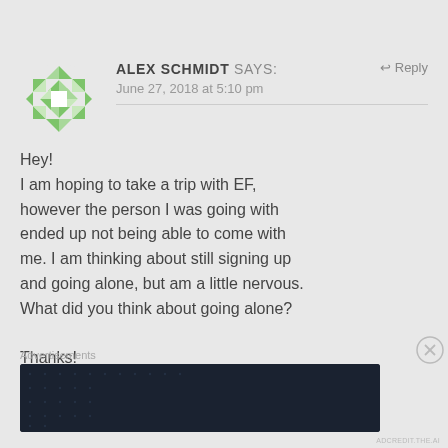[Figure (logo): Green and white geometric/diamond-pattern avatar icon for user Alex Schmidt]
ALEX SCHMIDT says:
June 27, 2018 at 5:10 pm
↩ Reply
Hey!
I am hoping to take a trip with EF, however the person I was going with ended up not being able to come with me. I am thinking about still signing up and going alone, but am a little nervous. What did you think about going alone?

Thanks!
Advertisements
[Figure (screenshot): Dark navy advertisement banner reading 'Create surveys, polls, quizzes, and forms.' with WordPress and SurveyAnyplace logos]